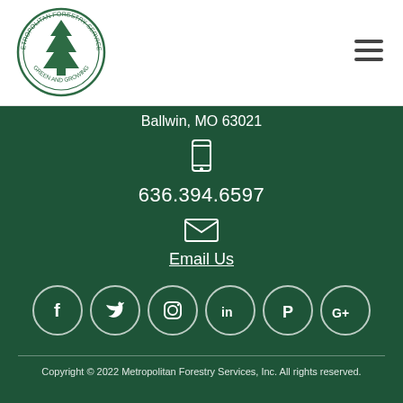[Figure (logo): Metropolitan Forestry Services circular logo with a pine tree in the center and text 'Metropolitan Forestry Services - Green and Growing' around the border]
Ballwin, MO 63021
636.394.6597
Email Us
[Figure (infographic): Social media icons in circles: Facebook, Twitter, Instagram, LinkedIn, Pinterest, Google+]
Copyright © 2022 Metropolitan Forestry Services, Inc. All rights reserved.